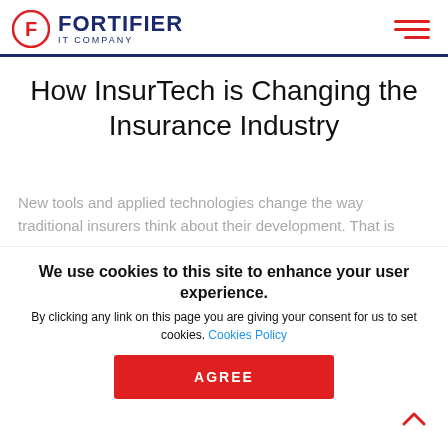FORTIFIER IT COMPANY
How InsurTech is Changing the Insurance Industry
New tools and applied technologies change the way traditional insurers think about their development. That is
We use cookies to this site to enhance your user experience.
By clicking any link on this page you are giving your consent for us to set cookies. Cookies Policy
AGREE